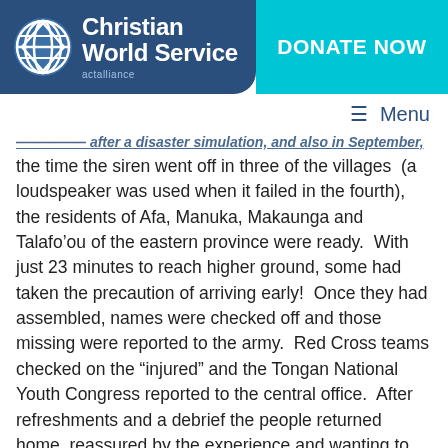Christian World Service | actalliance | DONATE NOW | Menu
...transit after a disaster simulation, and also in September, the time the siren went off in three of the villages (a loudspeaker was used when it failed in the fourth), the residents of Afa, Manuka, Makaunga and Talafo'ou of the eastern province were ready.  With just 23 minutes to reach higher ground, some had taken the precaution of arriving early!  Once they had assembled, names were checked off and those missing were reported to the army.  Red Cross teams checked on the “injured” and the Tongan National Youth Congress reported to the central office.  After refreshments and a debrief the people returned home, reassured by the experience and wanting to do it better next time.